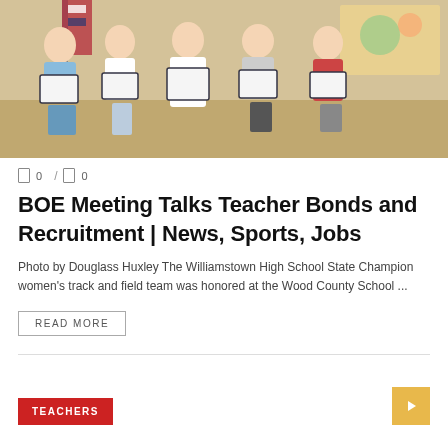[Figure (photo): Group of young women holding certificates/diplomas, standing in front of an American flag and bulletin board background. Likely award ceremony at a school board meeting.]
0 / 0
BOE Meeting Talks Teacher Bonds and Recruitment | News, Sports, Jobs
Photo by Douglass Huxley The Williamstown High School State Champion women's track and field team was honored at the Wood County School ...
READ MORE
TEACHERS